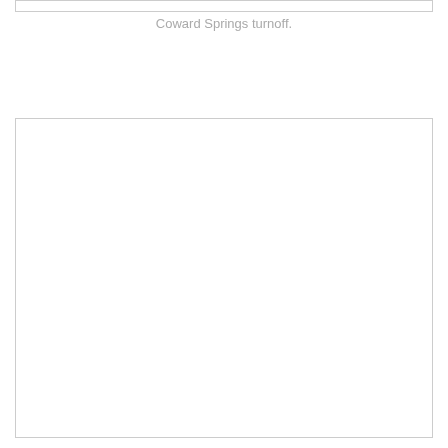[Figure (other): Empty white rectangular box at top of page with light gray border]
Coward Springs turnoff.
[Figure (photo): Large empty white rectangular box with light gray border occupying the lower portion of the page]